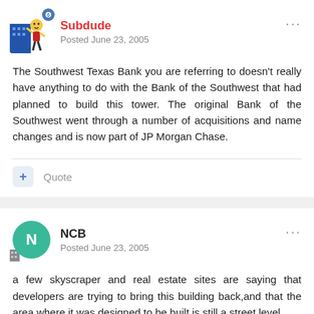Subdude
Posted June 23, 2005
The Southwest Texas Bank you are referring to doesn't really have anything to do with the Bank of the Southwest that had planned to build this tower. The original Bank of the Southwest went through a number of acquisitions and name changes and is now part of JP Morgan Chase.
NCB
Posted June 23, 2005
a few skyscraper and real estate sites are saying that developers are trying to bring this building back,and that the area where it was designed to be built is still a street level